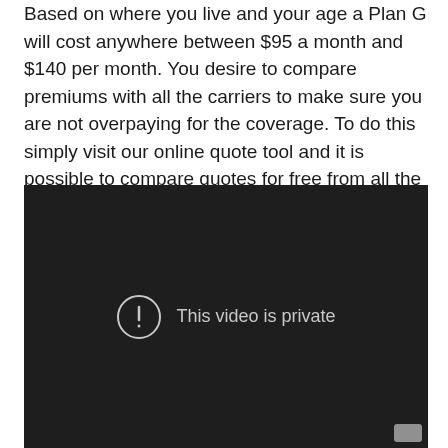Based on where you live and your age a Plan G will cost anywhere between $95 a month and $140 per month. You desire to compare premiums with all the carriers to make sure you are not overpaying for the coverage. To do this simply visit our online quote tool and it is possible to compare quotes for free from all the carriers accessible.
[Figure (screenshot): Embedded video player with dark background showing 'This video is private' message with an exclamation mark in a circle icon.]